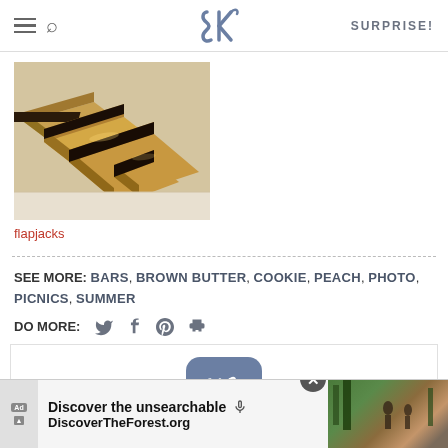SK — SURPRISE!
[Figure (photo): Photo of chocolate-topped flapjack bars stacked and sliced on a white surface]
flapjacks
SEE MORE: BARS, BROWN BUTTER, COOKIE, PEACH, PHOTO, PICNICS, SUMMER
DO MORE: [twitter] [facebook] [pinterest] [print]
[Figure (logo): SK The Digest logo in a rounded square]
[Figure (screenshot): Advertisement banner: Discover the unsearchable — DiscoverTheForest.org with forest photo]